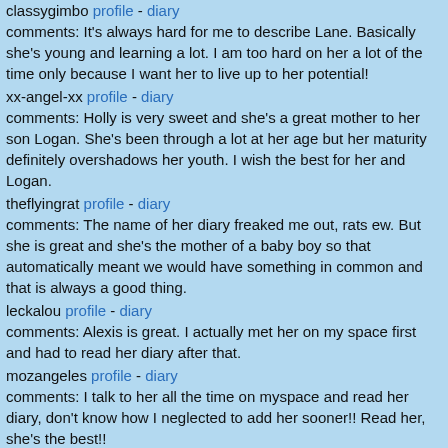classygimbo profile - diary
comments: It's always hard for me to describe Lane. Basically she's young and learning a lot. I am too hard on her a lot of the time only because I want her to live up to her potential!
xx-angel-xx profile - diary
comments: Holly is very sweet and she's a great mother to her son Logan. She's been through a lot at her age but her maturity definitely overshadows her youth. I wish the best for her and Logan.
theflyingrat profile - diary
comments: The name of her diary freaked me out, rats ew. But she is great and she's the mother of a baby boy so that automatically meant we would have something in common and that is always a good thing.
leckalou profile - diary
comments: Alexis is great. I actually met her on my space first and had to read her diary after that.
mozangeles profile - diary
comments: I talk to her all the time on myspace and read her diary, don't know how I neglected to add her sooner!! Read her, she's the best!!
dukkha-tanha profile - diary
comments: She calls her kids Beavis and Butthead so it's clear she has personality. A great read.
mamabean profile - diary